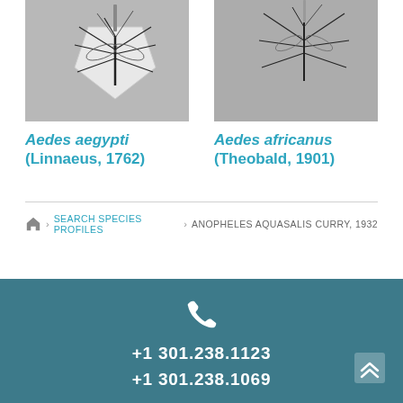[Figure (photo): Photograph of Aedes aegypti mosquito specimen pinned on white mount against gray background]
[Figure (photo): Photograph of Aedes africanus mosquito specimen pinned against gray background]
Aedes aegypti (Linnaeus, 1762)
Aedes africanus (Theobald, 1901)
Home > SEARCH SPECIES PROFILES > ANOPHELES AQUASALIS CURRY, 1932
+1 301.238.1123
+1 301.238.1069